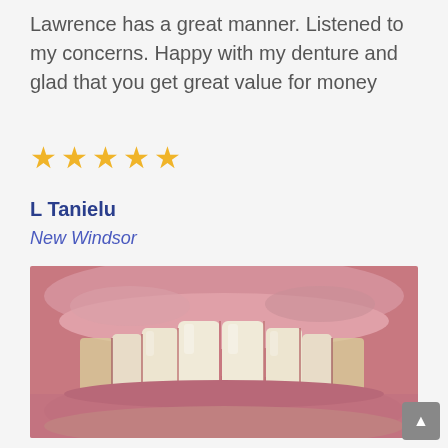Lawrence has a great manner. Listened to my concerns. Happy with my denture and glad that you get great value for money
[Figure (other): Five gold/yellow star rating icons indicating a 5-star review]
L Tanielu
New Windsor
[Figure (photo): Close-up photograph of a patient's teeth showing upper front teeth (dentures), with pink gum tissue visible, slightly yellowish-white teeth in a smile]